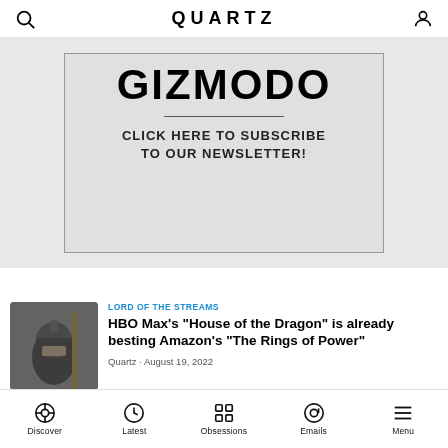QUARTZ
[Figure (screenshot): Gizmodo newsletter subscription advertisement banner with bold GIZMODO text and 'CLICK HERE TO SUBSCRIBE TO OUR NEWSLETTER!' text]
[Figure (photo): Thumbnail image showing a person in medieval armor helmet]
LORD OF THE STREAMS
HBO Max's "House of the Dragon" is already besting Amazon's "The Rings of Power"
Quartz · August 19, 2022
Discover   Latest   Obsessions   Emails   Menu